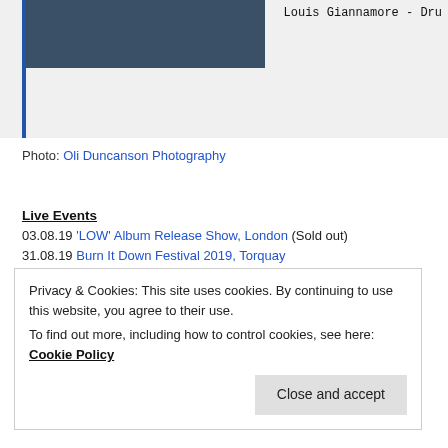[Figure (photo): Partial view of a band/group photo on a dark teal/blue background, cropped at the top. Blue vertical bar on the left side.]
Louis Giannamore - Dru
Photo: Oli Duncanson Photography
Live Events
03.08.19  'LOW' Album Release Show, London (Sold out)
31.08.19  Burn It Down Festival 2019, Torquay
07.09.19  Macmillan Fest 2019 – Nottingham
19.10.19  Unite Against Hate, Manchester
26.10.19  Holloween III, Southampton
Privacy & Cookies: This site uses cookies. By continuing to use this website, you agree to their use.
To find out more, including how to control cookies, see here: Cookie Policy
Close and accept